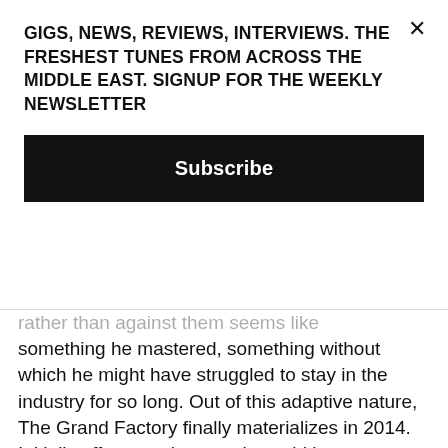GIGS, NEWS, REVIEWS, INTERVIEWS. THE FRESHEST TUNES FROM ACROSS THE MIDDLE EAST. SIGNUP FOR THE WEEKLY NEWSLETTER
Subscribe
rather than against them seems like something he mastered, something without which he might have struggled to stay in the industry for so long. Out of this adaptive nature, The Grand Factory finally materializes in 2014. Initially off to a rocky start, it would become one of Beirut's most essential superclubs, managing to partner with names like Watergate and Sisyphos for stand out one-night events, and inviting over musicians from across both the world and the musical spectrum.
"So I went to the industrial area and I found this factory that manufactures beds, it's called